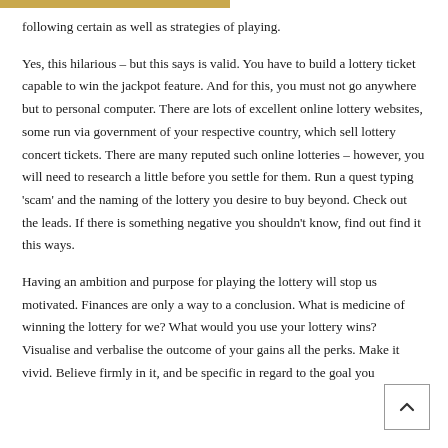following certain as well as strategies of playing.
Yes, this hilarious – but this says is valid. You have to build a lottery ticket capable to win the jackpot feature. And for this, you must not go anywhere but to personal computer. There are lots of excellent online lottery websites, some run via government of your respective country, which sell lottery concert tickets. There are many reputed such online lotteries – however, you will need to research a little before you settle for them. Run a quest typing 'scam' and the naming of the lottery you desire to buy beyond. Check out the leads. If there is something negative you shouldn't know, find out find it this ways.
Having an ambition and purpose for playing the lottery will stop us motivated. Finances are only a way to a conclusion. What is medicine of winning the lottery for we? What would you use your lottery wins? Visualise and verbalise the outcome of your gains all the perks. Make it vivid. Believe firmly in it, and be specific in regard to the goal you